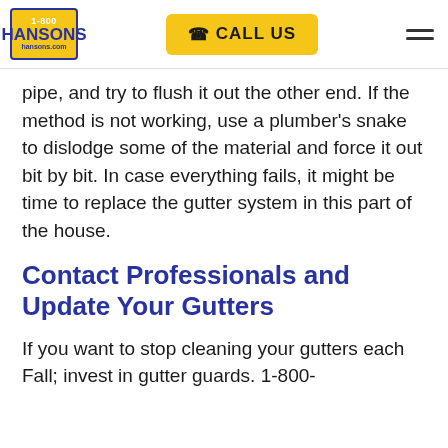1-800 HANSONS hansons.com | CALL US
pipe, and try to flush it out the other end. If the method is not working, use a plumber’s snake to dislodge some of the material and force it out bit by bit. In case everything fails, it might be time to replace the gutter system in this part of the house.
Contact Professionals and Update Your Gutters
If you want to stop cleaning your gutters each Fall; invest in gutter guards. 1-800-